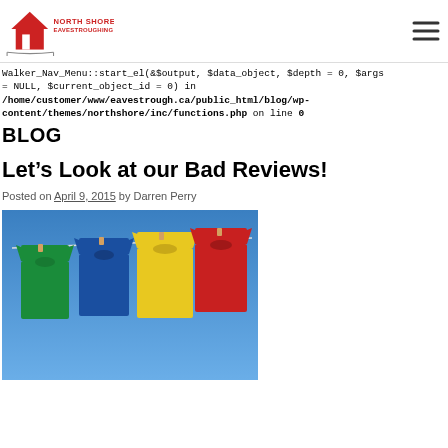[Figure (logo): North Shore Eavestroughing logo with red house icon and company name in red text]
Walker_Nav_Menu::start_el(&$output, $data_object, $depth = 0, $args = NULL, $current_object_id = 0) in /home/customer/www/eavestrough.ca/public_html/blog/wp-content/themes/northshore/inc/functions.php on line 0
BLOG
Let’s Look at our Bad Reviews!
Posted on April 9, 2015 by Darren Perry
[Figure (photo): Colorful t-shirts (green, blue, yellow, red) hanging on a clothesline against a blue sky]